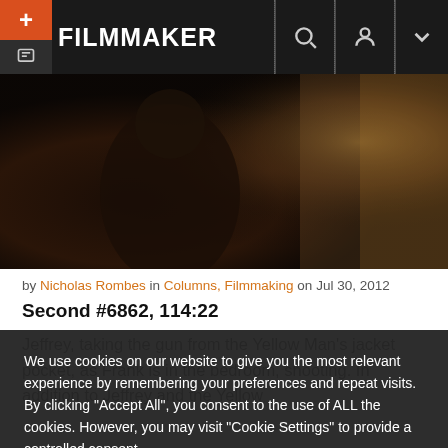FILMMAKER
[Figure (photo): Dark cinematic still from Blue Velvet showing a shadowy scene with warm amber tones in the background]
by Nicholas Rombes in Columns, Filmmaking on Jul 30, 2012
Second #6862, 114:22
Jeffrey, taking the gun from the Yellow Man's jacket pocket, as Frank is in the bedroom, shooting. In addition to Jeffrey and the Yellow
We use cookies on our website to give you the most relevant experience by remembering your preferences and repeat visits. By clicking "Accept All", you consent to the use of ALL the cookies. However, you may visit "Cookie Settings" to provide a controlled consent.